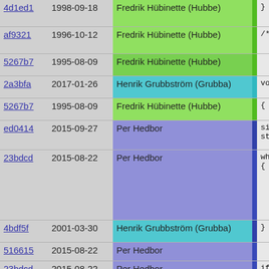| hash | date | author | bar | code |
| --- | --- | --- | --- | --- |
| 4d1ed1 | 1998-09-18 | Fredrik Hübinette (Hubbe) |  | } |
| af9321 | 1996-10-12 | Fredrik Hübinette (Hubbe) |  | /*** Free st |
| 5267b7 | 1995-08-09 | Fredrik Hübinette (Hubbe) |  |  |
| 2a3bfa | 2017-01-26 | Henrik Grubbström (Grubba) |  | void unlink_ |
| 5267b7 | 1995-08-09 | Fredrik Hübinette (Hubbe) |  | { |
| ed0414 | 2015-09-27 | Per Hedbor |  | size_t h=h
struct pil |
| 23bdcd | 2015-08-22 | Per Hedbor |  | while( tmp
{
  if( tmp
  {
    if( p
      p->n
    else
      base
    break,
  }
  p = tmp.
  tmp = tr |
| 4bdf5f | 2001-03-30 | Henrik Grubbström (Grubba) |  | } |
| 516615 | 2015-08-22 | Per Hedbor |  |  |
| 23bdcd | 2015-08-22 | Per Hedbor |  | if( !tmp |